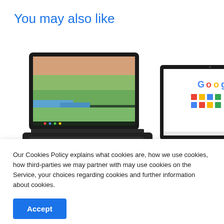You may also like
[Figure (photo): Lenovo Chromebook laptop open, showing a scenic aerial/river landscape wallpaper on screen, dark chassis, viewed from front-left angle.]
[Figure (photo): HP Chromebook laptop open, showing Google homepage on screen, dark chassis, partially cropped on right side.]
Our Cookies Policy explains what cookies are, how we use cookies, how third-parties we may partner with may use cookies on the Service, your choices regarding cookies and further information about cookies.
Accept
ChromeOS, Black (Refurbished)
(Refurbished)